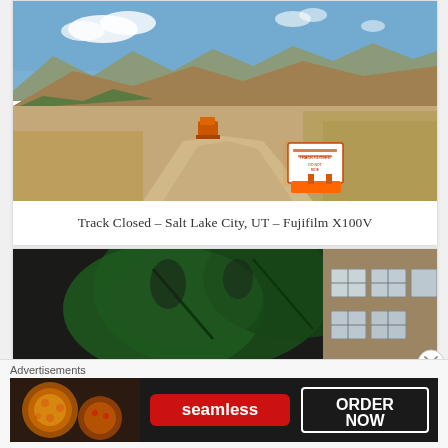[Figure (photo): Road track closed scene in Salt Lake City, UT. Dirt road with mountains in background, blue sky with clouds, orange construction vehicle and orange barrier signs reading TRACK CLOSED DO NOT RIDE.]
Track Closed – Salt Lake City, UT – Fujifilm X100V
[Figure (photo): Partial photo showing dark background with large green monstera leaves and an industrial brick building with windows on the right.]
Advertisements
[Figure (other): Seamless food delivery advertisement banner. Shows pizza slices on the left, Seamless logo in red in the center, and ORDER NOW button on the right on dark background.]